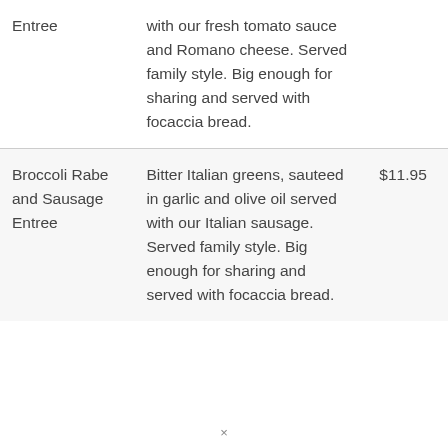|  |  |  |
| --- | --- | --- |
| Entree | with our fresh tomato sauce and Romano cheese. Served family style. Big enough for sharing and served with focaccia bread. |  |
| Broccoli Rabe and Sausage Entree | Bitter Italian greens, sauteed in garlic and olive oil served with our Italian sausage. Served family style. Big enough for sharing and served with focaccia bread. | $11.95 |